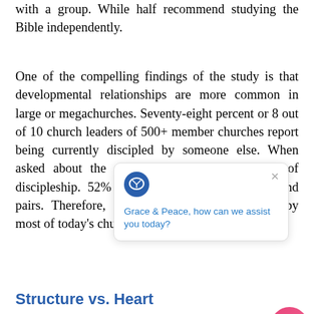with a group. While half recommend studying the Bible independently.
One of the compelling findings of the study is that developmental relationships are more common in large or megachurches. Seventy-eight percent or 8 out of 10 church leaders of 500+ member churches report being currently discipled by someone else. When asked about the most effective single method of discipleship. 52% small groups and pairs. Therefore, sm making approach favored by most of today's church leaders.
Structure vs. Heart
[Figure (other): Chat widget popup overlay with logo, close button, and text 'Grace & Peace, how can we assist you today?' along with a pink circular chat button.]